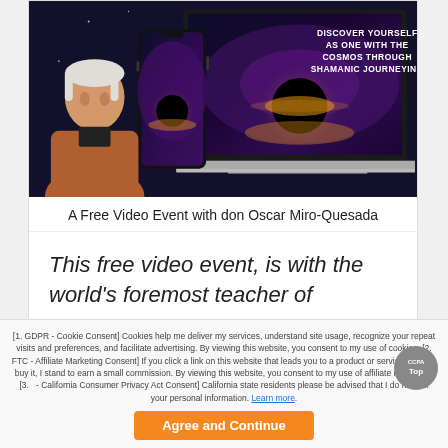[Figure (illustration): Laptop and phone mockup showing 'Discover Yourself As One With The Cosmos Through Shamanic Journeying' with eclipse image, and a person (don Oscar Miro-Quesada) in the foreground]
A Free Video Event with don Oscar Miro-Quesada
This free video event, is with the world's foremost teacher of
[1. GDPR - Cookie Consent] Cookies help me deliver my services, understand site usage, recognize your repeat visits and preferences, and facilitate advertising. By viewing this website, you consent to my use of cookies. [2. FTC - Affiliate Marketing Consent] If you click a link on this website that leads you to a product or service and you buy it, I stand to earn a small commission. By viewing this website, you consent to my use of affiliate marketing. [3. CCPA - California Consumer Privacy Act Consent] California state residents please be advised that I do not sell your personal information. Learn more.